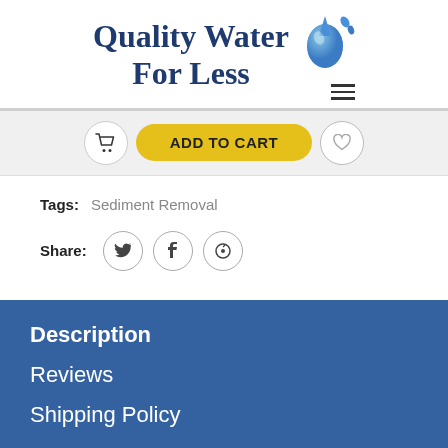[Figure (logo): Quality Water For Less logo with water drop graphic and hamburger menu icon]
[Figure (other): Add to cart button row with cart icon, yellow ADD TO CART button, and heart wishlist icon]
Tags: Sediment Removal
Share: [Twitter] [Facebook] [Pinterest]
Description
Reviews
Shipping Policy